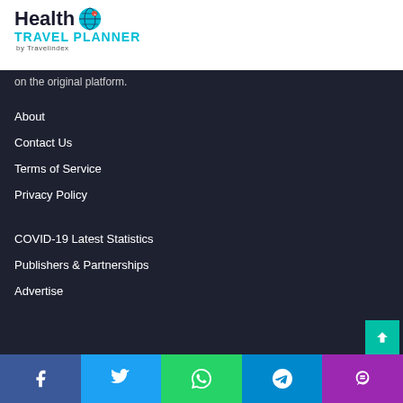[Figure (logo): Health Travel Planner by Travelindex logo with globe icon]
on the original platform.
About
Contact Us
Terms of Service
Privacy Policy
COVID-19 Latest Statistics
Publishers & Partnerships
Advertise